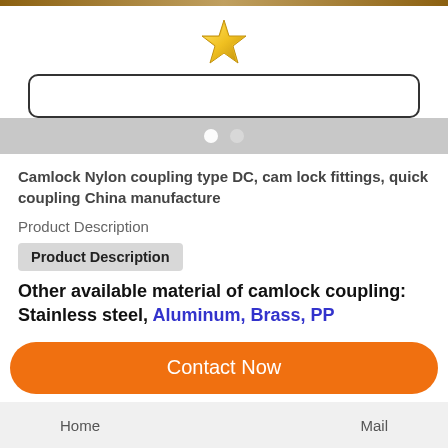[Figure (logo): Gold/yellow star logo icon centered at top]
[Figure (screenshot): Search bar input field with rounded rectangle border]
[Figure (infographic): Gray navigation bar with two white dot indicators (carousel dots)]
Camlock Nylon coupling type DC, cam lock fittings, quick coupling China manufacture
Product Description
Product Description
Other available material of camlock coupling: Stainless steel, Aluminum, Brass, PP
[Figure (other): Orange rounded Contact Now button]
Home   Mail